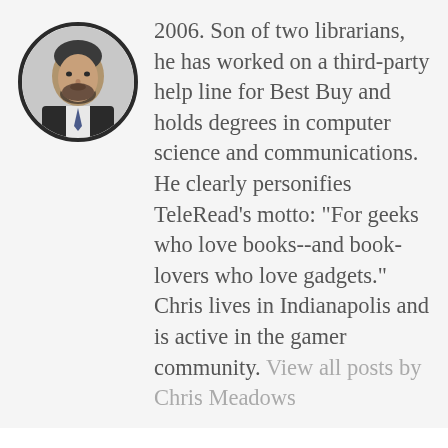[Figure (photo): Circular headshot photo of a bearded man in a suit and tie]
2006. Son of two librarians, he has worked on a third-party help line for Best Buy and holds degrees in computer science and communications. He clearly personifies TeleRead's motto: "For geeks who love books--and book-lovers who love gadgets." Chris lives in Indianapolis and is active in the gamer community. View all posts by Chris Meadows
← PREVIOUS
Ebook Review: War of Honor (Honor Harrington #10)
NEXT →
Mark Coker predicts gloom, doom for Amazon and...